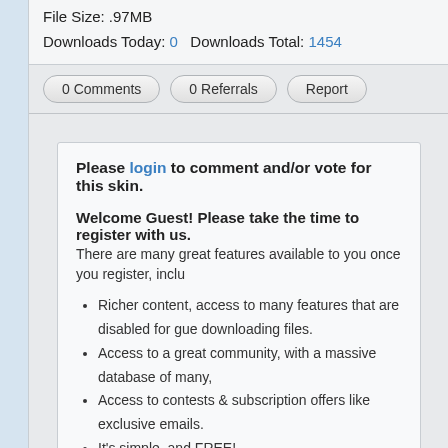File Size: .97MB
Downloads Today: 0   Downloads Total: 1454
0 Comments
0 Referrals
Report
Please login to comment and/or vote for this skin.
Welcome Guest! Please take the time to register with us.
There are many great features available to you once you register, inclu
Richer content, access to many features that are disabled for gue downloading files.
Access to a great community, with a massive database of many,
Access to contests & subscription offers like exclusive emails.
It's simple, and FREE!